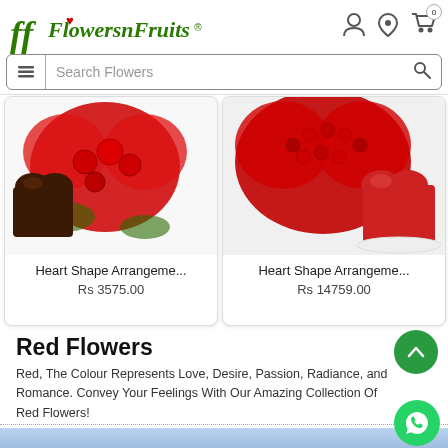FlowersnFruits - Header with logo, search bar, navigation icons
[Figure (photo): Heart shape arrangement of red roses with a dark chocolate heart-shaped cake on white background]
Heart Shape Arrangeme...
Rs 3575.00
[Figure (photo): Heart shape arrangement of 200+ red roses with a red velvet heart-shaped cake on white background]
Heart Shape Arrangeme...
Rs 14759.00
Red Flowers
Red, The Colour Represents Love, Desire, Passion, Radiance, and Romance. Convey Your Feelings With Our Amazing Collection Of Red Flowers!